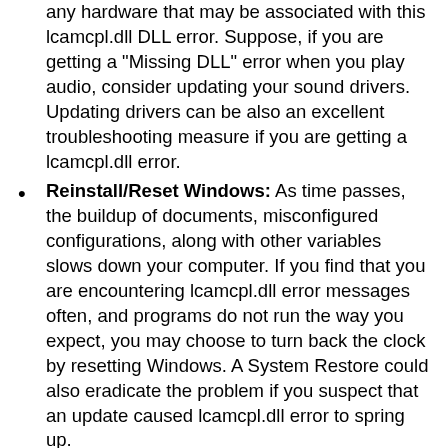any hardware that may be associated with this lcamcpl.dll DLL error. Suppose, if you are getting a "Missing DLL" error when you play audio, consider updating your sound drivers. Updating drivers can be also an excellent troubleshooting measure if you are getting a lcamcpl.dll error.
Reinstall/Reset Windows: As time passes, the buildup of documents, misconfigured configurations, along with other variables slows down your computer. If you find that you are encountering lcamcpl.dll error messages often, and programs do not run the way you expect, you may choose to turn back the clock by resetting Windows. A System Restore could also eradicate the problem if you suspect that an update caused lcamcpl.dll error to spring up.
Repair Windows: Repairing Windows version is one step easier or less riskier than resetting or reinstalling Windows, that's why to solve lcamcpl.dll, you may first want to use Repair Windows wizard. Reset This PC option in Windows 10/8 is quite handy as it overwrites all important